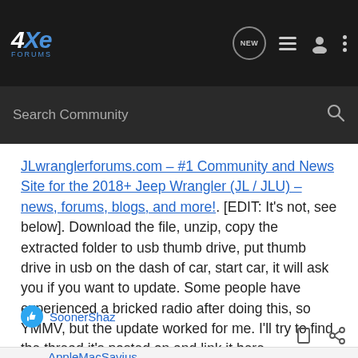4xe Forums
JLwranglerforums.com – #1 Community and News Site for the 2018+ Jeep Wrangler (JL / JLU) – news, forums, blogs, and more!. [EDIT: It's not, see below]. Download the file, unzip, copy the extracted folder to usb thumb drive, put thumb drive in usb on the dash of car, start car, it will ask you if you want to update. Some people have experienced a bricked radio after doing this, so YMMV, but the update worked for me. I'll try to find the thread it's posted on and link it here.
Update: file is linked here.
SoonerShaz
AppleMacSavius  Registered